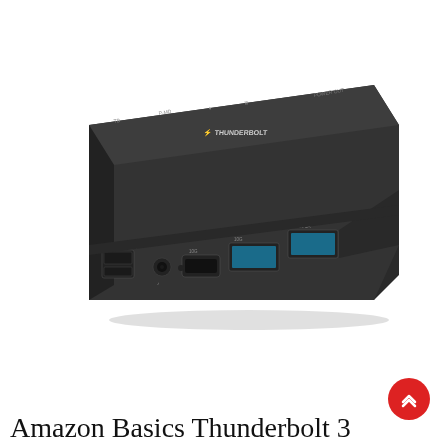[Figure (photo): Product photo of an Amazon Basics Thunderbolt 3 docking hub. A dark grey/black rectangular device with multiple ports visible: USB-A ports with blue inserts, USB-C ports, SD card slot, microSD slot, 3.5mm audio jack, and Thunderbolt 3 port. The top surface shows the Thunderbolt logo and port labels. The device is shown in a perspective/isometric view against a white background.]
Amazon Basics Thunderbolt 3